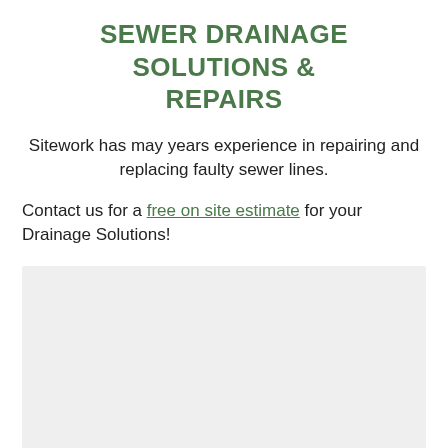SEWER DRAINAGE SOLUTIONS & REPAIRS
Sitework has may years experience in repairing and replacing faulty sewer lines.
Contact us for a free on site estimate for your Drainage Solutions!
[Figure (photo): Light gray placeholder image area for a photo related to sewer drainage solutions]